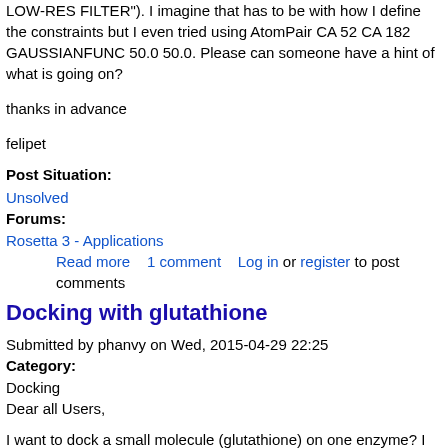LOW-RES FILTER"). I imagine that has to be with how I define the constraints but I even tried using AtomPair CA 52 CA 182 GAUSSIANFUNC 50.0 50.0. Please can someone have a hint of what is going on?
thanks in advance
felipet
Post Situation:
Unsolved
Forums:
Rosetta 3 - Applications
Read more    1 comment    Log in or register to post comments
Docking with glutathione
Submitted by phanvy on Wed, 2015-04-29 22:25
Category:
Docking
Dear all Users,
I want to dock a small molecule (glutathione) on one enzyme? I wonder that can I do with glutathione which is not the peptide. Could some one explain to me?
Thank you so muc
h